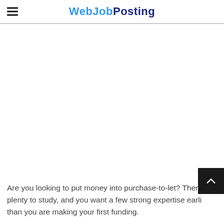WebJobPosting
Are you looking to put money into purchase-to-let? There's plenty to study, and you want a few strong expertise earlier than you are making your first funding.